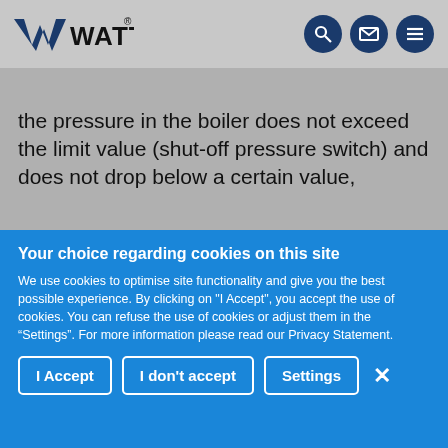WATTS (logo with navigation icons)
the pressure in the boiler does not exceed the limit value (shut-off pressure switch) and does not drop below a certain value,
Your choice regarding cookies on this site
We use cookies to optimise site functionality and give you the best possible experience. By clicking on "I Accept", you accept the use of cookies. You can refuse the use of cookies or adjust them in the “Settings”. For more information please read our Privacy Statement.
I Accept | I don't accept | Settings | X